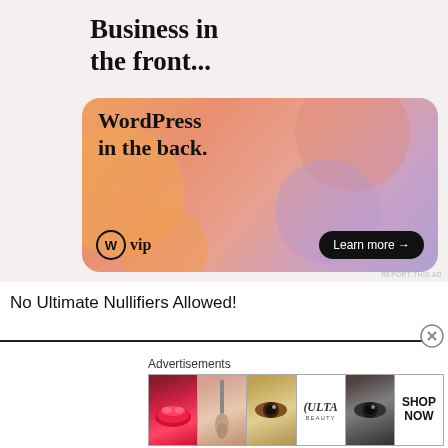[Figure (illustration): WordPress VIP advertisement. Top section on light pink/beige background reads 'Business in the front...' in bold black text. Below is a rounded-corner banner with orange-to-purple gradient showing 'WordPress in the back.' in serif bold font, with WordPress W logo and 'vip' text at bottom left, and a dark 'Learn more →' button at bottom right.]
No Ultimate Nullifiers Allowed!
[Figure (screenshot): Bottom advertisement strip labeled 'Advertisements' showing Ulta Beauty ad with images of lips, makeup brush, eye, Ulta logo, eye makeup, and 'SHOP NOW' text.]